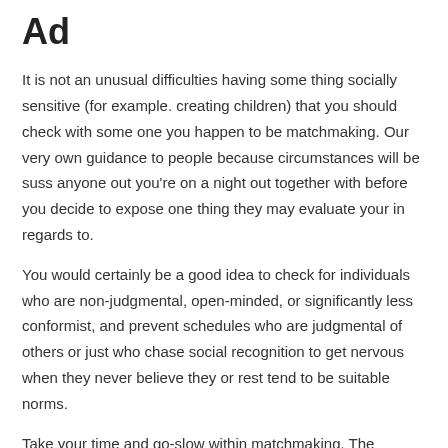Ad
It is not an unusual difficulties having some thing socially sensitive (for example. creating children) that you should check with some one you happen to be matchmaking. Our very own guidance to people because circumstances will be suss anyone out you're on a night out together with before you decide to expose one thing they may evaluate your in regards to.
You would certainly be a good idea to check for individuals who are non-judgmental, open-minded, or significantly less conformist, and prevent schedules who are judgmental of others or just who chase social recognition to get nervous when they never believe they or rest tend to be suitable norms.
Take your time and go-slow within matchmaking. The intention of dating try sussing someone on, and you can be upfront and unapologetic about that. Anybody online dating you is certainly not